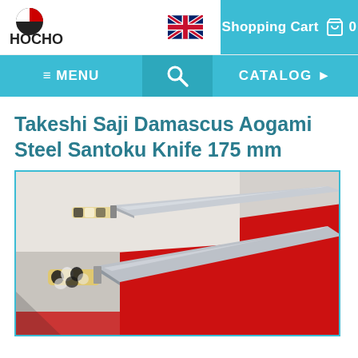[Figure (logo): HOCHO brand logo with red and black circular icon]
[Figure (illustration): UK flag / Union Jack icon]
Shopping Cart 🛒 0
≡ MENU
[Figure (illustration): Search magnifying glass icon]
CATALOG ▶
Takeshi Saji Damascus Aogami Steel Santoku Knife 175 mm
[Figure (photo): Photo of a Takeshi Saji Damascus Aogami Steel Santoku Knife 175mm with patterned handle, shown in a red-lined box]